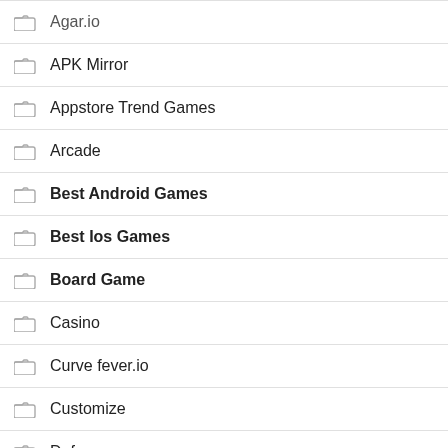Agar.io
APK Mirror
Appstore Trend Games
Arcade
Best Android Games
Best Ios Games
Board Game
Casino
Curve fever.io
Customize
Defense
Diep io
Dress-Up
Driving
Education